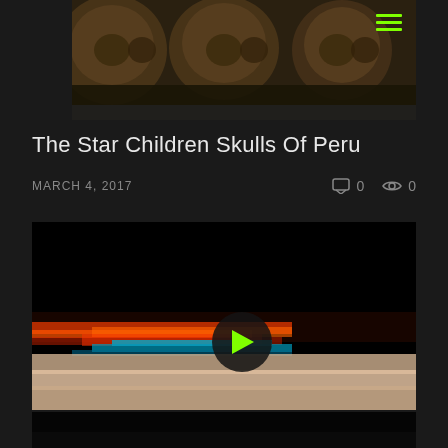[Figure (photo): Top image showing ancient skull artifacts, partially cropped, with a green hamburger menu icon in top right corner]
The Star Children Skulls Of Peru
MARCH 4, 2017   [comment icon] 0   [eye icon] 0
[Figure (screenshot): Video thumbnail showing a dark image with colorful light streaks (red, orange, blue) across the lower portion, with a circular play button overlay containing a green play triangle]
[Figure (photo): Bottom strip showing the top portion of another dark image, partially visible]